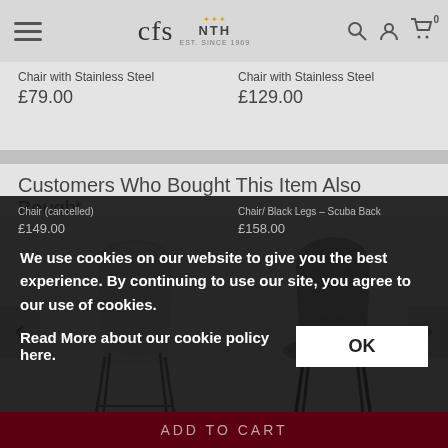CFS - Est. Since 1969 [logo with navigation icons: search, account, cart (0)]
Chair with Stainless Steel
£79.00
Chair with Stainless Steel
£129.00
Customers Who Bought This Item Also Bought
[Figure (photo): Carousel of dining chairs. Left: light grey upholstered chair with dark legs. Right: grey button-back upholstered chair with black legs. Navigation arrows on left and right sides.]
Chair (cancelled)
£149.00
Chair/ Black Legs – Scuba Back
£158.00
We use cookies on our website to give you the best experience. By continuing to use our site, you agree to our use of cookies.
Read More about our cookie policy here.
OK
ADD TO CART